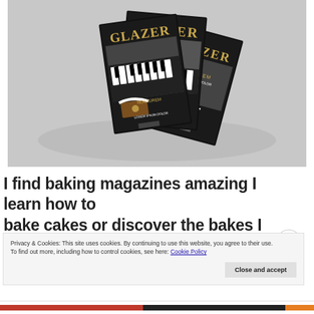[Figure (photo): Stack of dark-themed baking magazines titled 'GLAZER' with food imagery on the cover, arranged in a pile on a light grey background.]
I find baking magazines amazing I learn how to bake cakes or discover the bakes I don't know .
Privacy & Cookies: This site uses cookies. By continuing to use this website, you agree to their use.
To find out more, including how to control cookies, see here: Cookie Policy